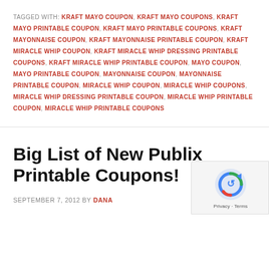TAGGED WITH: KRAFT MAYO COUPON, KRAFT MAYO COUPONS, KRAFT MAYO PRINTABLE COUPON, KRAFT MAYO PRINTABLE COUPONS, KRAFT MAYONNAISE COUPON, KRAFT MAYONNAISE PRINTABLE COUPON, KRAFT MIRACLE WHIP COUPON, KRAFT MIRACLE WHIP DRESSING PRINTABLE COUPONS, KRAFT MIRACLE WHIP PRINTABLE COUPON, MAYO COUPON, MAYO PRINTABLE COUPON, MAYONNAISE COUPON, MAYONNAISE PRINTABLE COUPON, MIRACLE WHIP COUPON, MIRACLE WHIP COUPONS, MIRACLE WHIP DRESSING PRINTABLE COUPON, MIRACLE WHIP PRINTABLE COUPON, MIRACLE WHIP PRINTABLE COUPONS
Big List of New Publix Printable Coupons!
SEPTEMBER 7, 2012 BY DANA